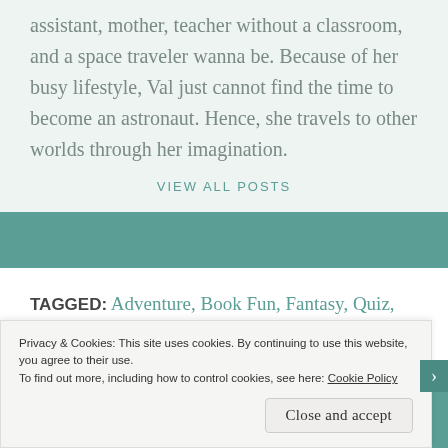assistant, mother, teacher without a classroom, and a space traveler wanna be. Because of her busy lifestyle, Val just cannot find the time to become an astronaut. Hence, she travels to other worlds through her imagination.
VIEW ALL POSTS
TAGGED: Adventure, Book Fun, Fantasy, Quiz, YA Fantasy
Privacy & Cookies: This site uses cookies. By continuing to use this website, you agree to their use.
To find out more, including how to control cookies, see here: Cookie Policy
Close and accept